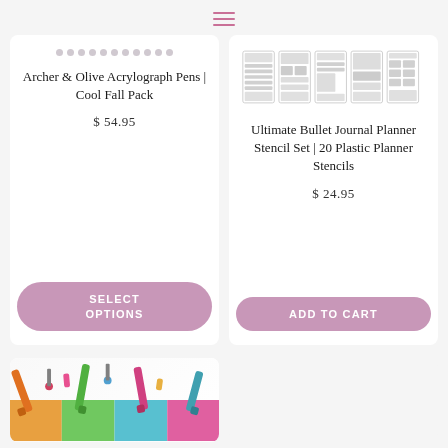[Figure (screenshot): Hamburger/menu icon (three horizontal lines) in pink/mauve color centered at top]
[Figure (screenshot): Product card: Archer & Olive Acrylograph Pens | Cool Fall Pack with star dots rating]
Archer & Olive Acrylograph Pens | Cool Fall Pack
$ 54.95
SELECT OPTIONS
[Figure (screenshot): Product card: Ultimate Bullet Journal Planner Stencil Set | 20 Plastic Planner Stencils with stencil images]
Ultimate Bullet Journal Planner Stencil Set | 20 Plastic Planner Stencils
$ 24.95
ADD TO CART
[Figure (photo): Partial product card at bottom left showing colorful markers/pens in orange, green, pink, blue colors]